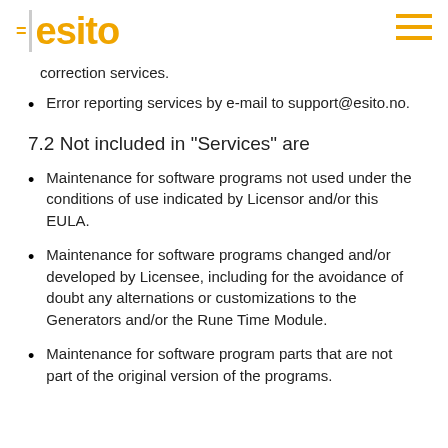esito
correction services.
Error reporting services by e-mail to support@esito.no.
7.2 Not included in "Services" are
Maintenance for software programs not used under the conditions of use indicated by Licensor and/or this EULA.
Maintenance for software programs changed and/or developed by Licensee, including for the avoidance of doubt any alternations or customizations to the Generators and/or the Rune Time Module.
Maintenance for software program parts that are not part of the original version of the programs.